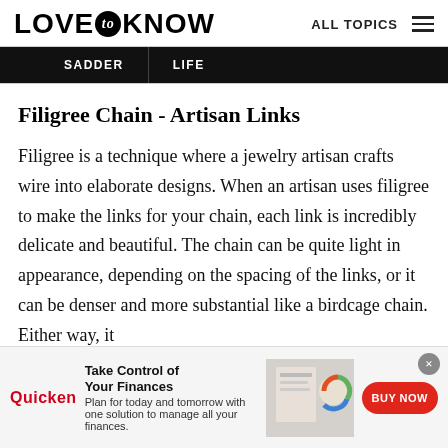LOVE to KNOW  ALL TOPICS
[Figure (screenshot): Black navigation bar with tabs: SADDER | LIFE]
Filigree Chain - Artisan Links
Filigree is a technique where a jewelry artisan crafts wire into elaborate designs. When an artisan uses filigree to make the links for your chain, each link is incredibly delicate and beautiful. The chain can be quite light in appearance, depending on the spacing of the links, or it can be denser and more substantial like a birdcage chain. Either way, it
[Figure (screenshot): Quicken advertisement banner at bottom: Take Control of Your Finances. Plan for today and tomorrow with one solution to manage all your finances. BUY NOW button.]